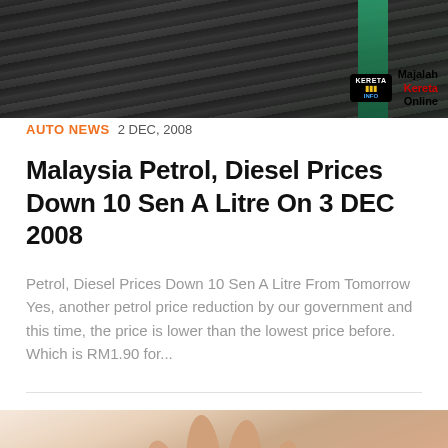[Figure (photo): Close-up photo of fuel pump nozzles (dark metallic), with a green pump handle visible. Kereta Info logo and 'Majalah Kereta Online' text overlay in bottom-right corner.]
AUTO NEWS  2 DEC, 2008
Malaysia Petrol, Diesel Prices Down 10 Sen A Litre On 3 DEC 2008
Petrol, Diesel Prices Down 10 Sen A Litre From Tomorrow Yes, another petrol price reduction by our government and this time, the price is lower than the lowest price before. Which is RM1.90 for...
[Figure (photo): Close-up photo of a hand (fingers visible from below) against a light background.]